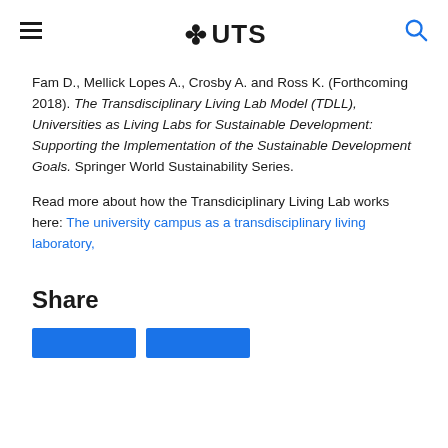UTS
Fam D., Mellick Lopes A., Crosby A. and Ross K. (Forthcoming 2018). The Transdisciplinary Living Lab Model (TDLL), Universities as Living Labs for Sustainable Development: Supporting the Implementation of the Sustainable Development Goals. Springer World Sustainability Series.
Read more about how the Transdiciplinary Living Lab works here: The university campus as a transdisciplinary living laboratory,
Share